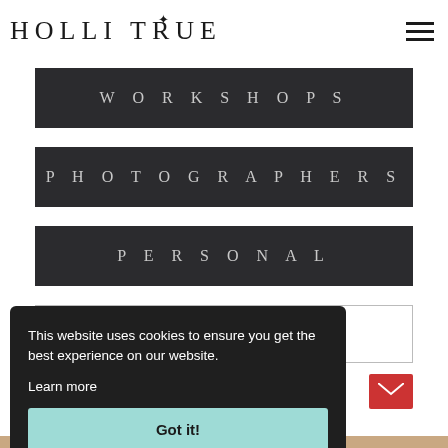HOLLI TRUE
WORKSHOPS
PHOTOGRAPHERS
PERSONAL
Search
This website uses cookies to ensure you get the best experience on our website.
Learn more
Got it!